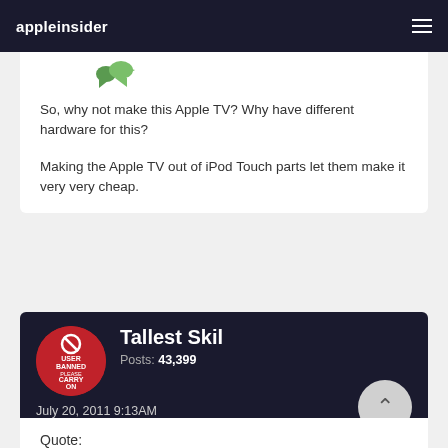appleinsider
[Figure (illustration): Green reply/quote icon arrow]
So, why not make this Apple TV? Why have different hardware for this?
Making the Apple TV out of iPod Touch parts let them make it very very cheap.
Tallest Skil
Posts: 43,399
July 20, 2011 9:13AM
Quote: